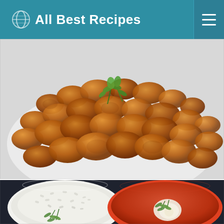All Best Recipes
[Figure (photo): Close-up photo of fried chicken popcorn bites piled on a white plate, garnished with fresh herbs (thyme/rosemary), golden-brown crispy texture, shot from above at an angle.]
[Figure (photo): Top-down photo showing two white bowls: one with white rice garnished with dill, and one with tomato soup containing a cream swirl garnished with dill, placed on a dark textured surface.]